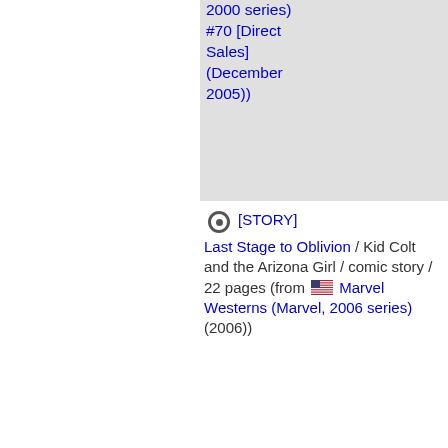2000 series) #70 [Direct Sales] (December 2005))
[STORY] Last Stage to Oblivion / Kid Colt and the Arizona Girl / comic story / 22 pages (from Marvel Westerns (Marvel, 2006 series) (2006))
[STORY] [no title indexed] / Batman / cover / 1 page (from Year One: Batman / Ra's Al Ghul (Titan, 2006 series) (2006))
[STORY] ["A family outing to the